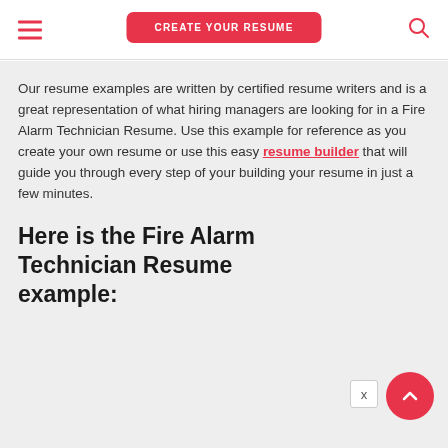CREATE YOUR RESUME
Our resume examples are written by certified resume writers and is a great representation of what hiring managers are looking for in a Fire Alarm Technician Resume. Use this example for reference as you create your own resume or use this easy resume builder that will guide you through every step of your building your resume in just a few minutes.
Here is the Fire Alarm Technician Resume example: